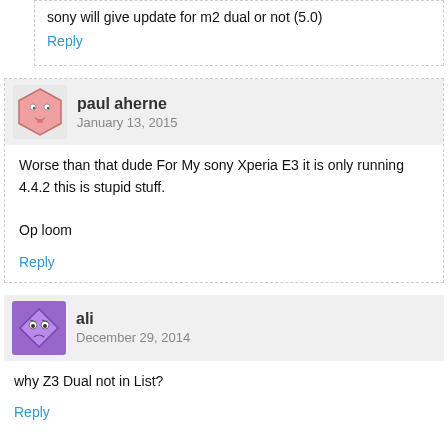sony will give update for m2 dual or not (5.0)
Reply
paul aherne
January 13, 2015
Worse than that dude For My sony Xperia E3 it is only running 4.4.2 this is stupid stuff.

Op loom
Reply
ali
December 29, 2014
why Z3 Dual not in List?
Reply